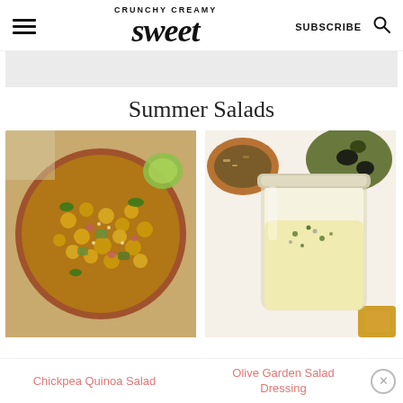CRUNCHY CREAMY Sweet — SUBSCRIBE
[Figure (other): Gray advertisement banner placeholder]
Summer Salads
[Figure (photo): Overhead view of a chickpea quinoa salad in a terracotta bowl with cucumbers, red onion, herbs, and a lime wedge]
[Figure (photo): Glass jar filled with creamy Olive Garden salad dressing, with toppings in terracotta bowls and croutons in the background]
Chickpea Quinoa Salad
Olive Garden Salad Dressing